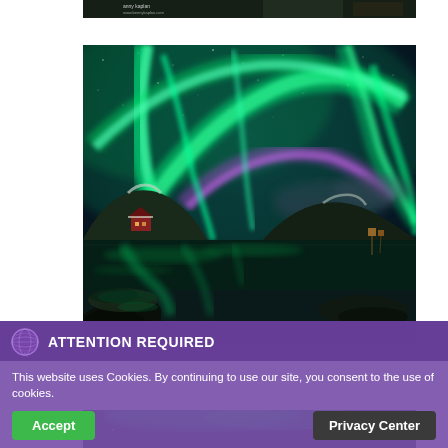[Figure (photo): Partial top strip of a photo showing a dark background with small white text and an image edge, partially visible at top of page]
[Figure (photo): Aurora borealis (northern lights) photograph showing vivid green and purple light ribbons over a fjord landscape with snowy mountains, a small red building on the shore, and the aurora reflected in the still water below a dark night sky]
[Figure (photo): Partial bottom strip of another aurora borealis photo, showing green aurora light and dark sky at the very bottom of the page]
ATTENTION REQUIRED
This website uses Cookies. By continuing to use our site, you consent to the use of cookies.
Accept
Privacy Center